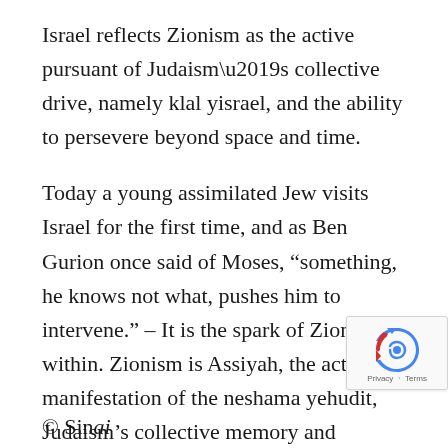Israel reflects Zionism as the active pursuant of Judaism’s collective drive, namely klal yisrael, and the ability to persevere beyond space and time.
Today a young assimilated Jew visits Israel for the first time, and as Ben Gurion once said of Moses, “something, he knows not what, pushes him to intervene.” – It is the spark of Zion from within. Zionism is Assiyah, the active manifestation of the neshama yehudit, Judaism’s collective memory and spiritual identity.
© Sinai